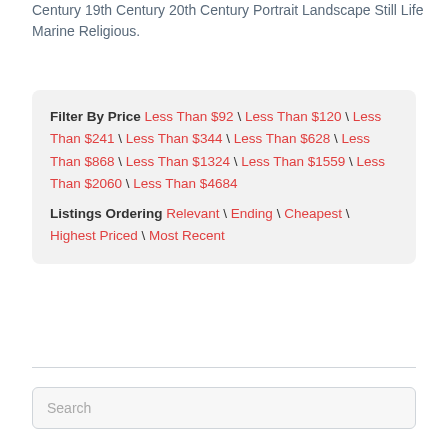Century 19th Century 20th Century Portrait Landscape Still Life Marine Religious.
Filter By Price Less Than $92 \ Less Than $120 \ Less Than $241 \ Less Than $344 \ Less Than $628 \ Less Than $868 \ Less Than $1324 \ Less Than $1559 \ Less Than $2060 \ Less Than $4684 Listings Ordering Relevant \ Ending \ Cheapest \ Highest Priced \ Most Recent